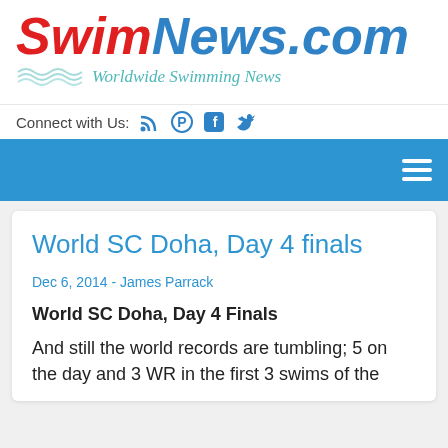[Figure (logo): SwimNews.com logo with red italic 'Swim' and blue italic 'News.com' text, with wave decoration and 'Worldwide Swimming News' tagline]
Connect with Us:
World SC Doha, Day 4 finals
Dec 6, 2014 - James Parrack
World SC Doha, Day 4 Finals
And still the world records are tumbling; 5 on the day and 3 WR in the first 3 swims of the